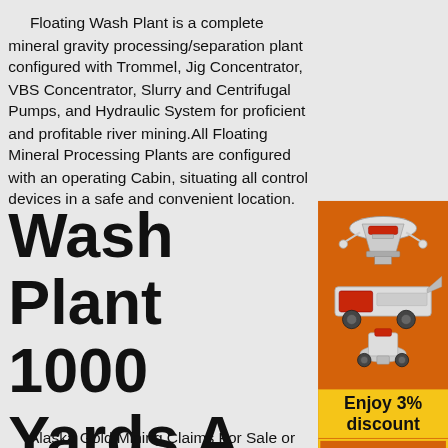Floating Wash Plant is a complete mineral gravity processing/separation plant configured with Trommel, Jig Concentrator, VBS Concentrator, Slurry and Centrifugal Pumps, and Hydraulic System for proficient and profitable river mining.All Floating Mineral Processing Plants are configured with an operating Cabin, situating all control devices in a safe and convenient location.
Wash Plant 1000 Yards A Hour - mayukhportfolio.
[Figure (photo): Advertisement sidebar showing mining/crushing machinery images on orange background with 'Enjoy 3% discount', 'Click to Chat', 'Enquiry', and 'limingjlmofen@sina.com' text.]
Alaska Gold Mining Claims For Sale or Lease Trommel with 2 sluice box's and a boil box / wash plant (shaker). ... Belt Lines , has a 200 yard per hour capacity and tools and equipment to operate the ... screen tv-freezer-refrigerator-3 berths-head-1200 lb anchor-1000 lb anchor. Read more.